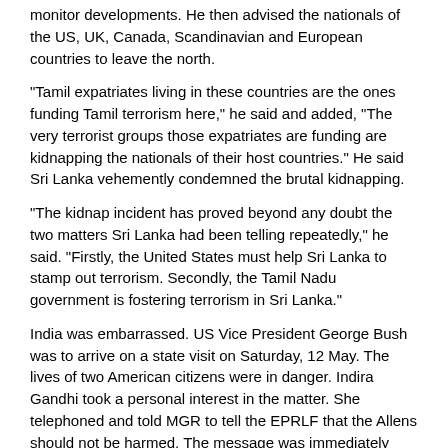monitor developments.  He then advised the nationals of the US, UK, Canada, Scandinavian and European countries to leave the north.
“Tamil expatriates living in these countries are the ones funding Tamil terrorism here,” he said and added, “The very terrorist groups those expatriates are funding are kidnapping the nationals of their host countries.”  He said Sri Lanka vehemently condemned the brutal kidnapping.
“The kidnap incident has proved beyond any doubt the two matters Sri Lanka had been telling repeatedly,” he said.  “Firstly, the United States must help Sri Lanka to stamp out terrorism.  Secondly, the Tamil Nadu government is fostering terrorism in Sri Lanka.”
India was embarrassed.  US Vice President George Bush was to arrive on a state visit on Saturday, 12 May.  The lives of two American citizens were in danger.  Indira Gandhi took a personal interest in the matter.  She telephoned and told MGR to tell the EPRLF that the Allens should not be harmed.  The message was immediately passed on to Pathmanabha.
[Figure (photo): A photograph showing the top of a person's head with dark hair, cropped at the bottom of the page.]